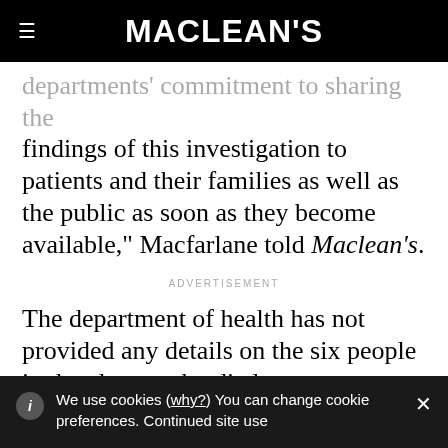MACLEAN'S
departments' commitment to sharing the findings of this investigation to patients and their families as well as the public as soon as they become available," Macfarlane told Maclean's.
ADVERTISEMENT
The department of health has not provided any details on the six people in the cluster who died, nor acknowledged any others
We use cookies (why?) You can change cookie preferences. Continued site use